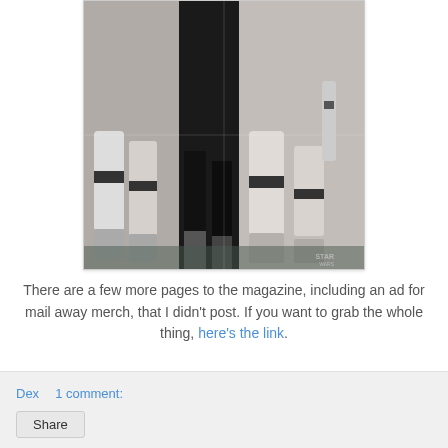[Figure (photo): Black and white photograph of Star Wars stormtrooper costumes, showing lower bodies/legs of figures in white armor against a dark background, with a 'Star Wars' watermark in the bottom right corner.]
There are a few more pages to the magazine, including an ad for mail away merch, that I didn't post. If you want to grab the whole thing, here's the link.
Dex    1 comment:
Share